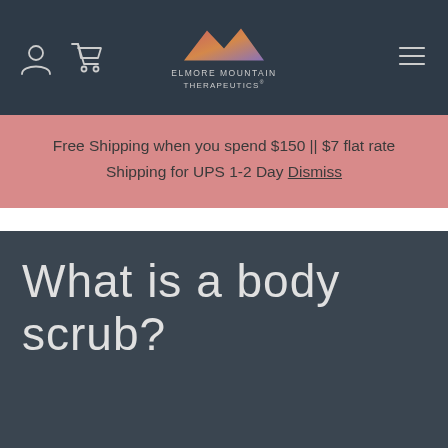Elmore Mountain Therapeutics — navigation bar with user icon, cart icon, logo, and menu icon
Free Shipping when you spend $150 || $7 flat rate Shipping for UPS 1-2 Day Dismiss
What is a body scrub?